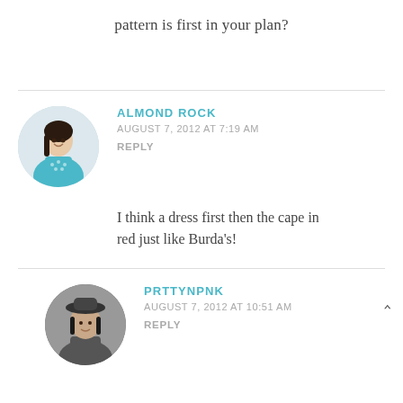pattern is first in your plan?
ALMOND ROCK
AUGUST 7, 2012 AT 7:19 AM
REPLY
I think a dress first then the cape in red just like Burda's!
PRTTYNPNK
AUGUST 7, 2012 AT 10:51 AM
REPLY